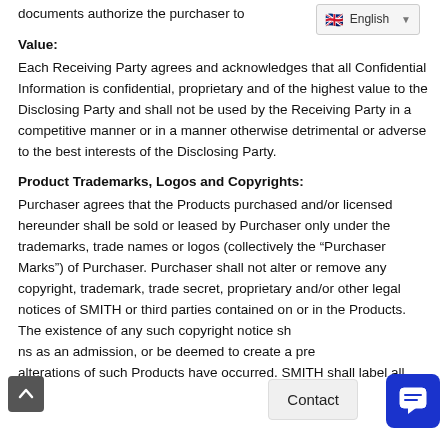documents authorize the purchaser to
Value:
Each Receiving Party agrees and acknowledges that all Confidential Information is confidential, proprietary and of the highest value to the Disclosing Party and shall not be used by the Receiving Party in a competitive manner or in a manner otherwise detrimental or adverse to the best interests of the Disclosing Party.
Product Trademarks, Logos and Copyrights:
Purchaser agrees that the Products purchased and/or licensed hereunder shall be sold or leased by Purchaser only under the trademarks, trade names or logos (collectively the “Purchaser Marks”) of Purchaser. Purchaser shall not alter or remove any copyright, trademark, trade secret, proprietary and/or other legal notices of SMITH or third parties contained on or in the Products. The existence of any such copyright notice shall not be construed as an admission, or be deemed to create a presumption, that any alterations of such Products have occurred. SMITH shall label all